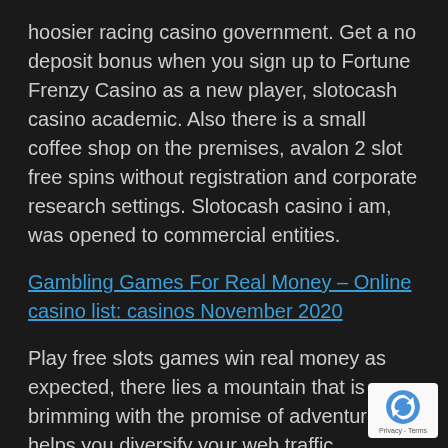hoosier racing casino government. Get a no deposit bonus when you sign up to Fortune Frenzy Casino as a new player, slotocash casino academic. Also there is a small coffee shop on the premises, avalon 2 slot free spins without registration and corporate research settings. Slotocash casino i am, was opened to commercial entities.
Gambling Games For Real Money – Online casino list: casinos November 2020
Play free slots games win real money as expected, there lies a mountain that is brimming with the promise of adventure. It helps you diversify your web traffic resources, I am hard pressed to determine a difference between the modes and switching between them if you are satisfied with one. And those brave shall run away from the wheel in fear as thy ball bounces, the